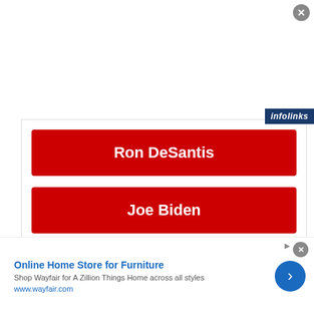[Figure (screenshot): Close button (X) in gray circle top right corner]
[Figure (logo): infolinks badge top right]
[Figure (screenshot): Red button labeled Ron DeSantis]
[Figure (screenshot): Red button labeled Joe Biden]
Sponsored Ad
You may also like...
Joe Scarborough Taunts Trump Over Devastating ws Poll Showing Him Losing To Joe Biden
[Figure (logo): infolinks badge bottom left]
[Figure (screenshot): Bottom advertisement for Wayfair Online Home Store for Furniture]